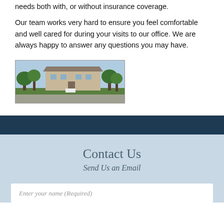needs both with, or without insurance coverage.
Our team works very hard to ensure you feel comfortable and well cared for during your visits to our office. We are always happy to answer any questions you may have.
[Figure (photo): Exterior photo of a medical office building surrounded by green trees and landscaping]
Contact Us
Send Us an Email
Enter your name (Required)